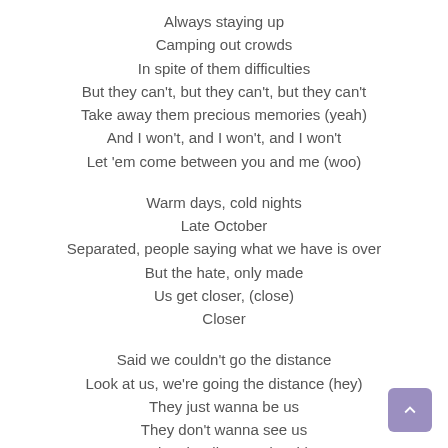Always staying up
Camping out crowds
In spite of them difficulties
But they can't, but they can't, but they can't
Take away them precious memories (yeah)
And I won't, and I won't, and I won't
Let 'em come between you and me (woo)
Warm days, cold nights
Late October
Separated, people saying what we have is over
But the hate, only made
Us get closer, (close)
Closer
Said we couldn't go the distance
Look at us, we're going the distance (hey)
They just wanna be us
They don't wanna see us
Going the distance (yeah)